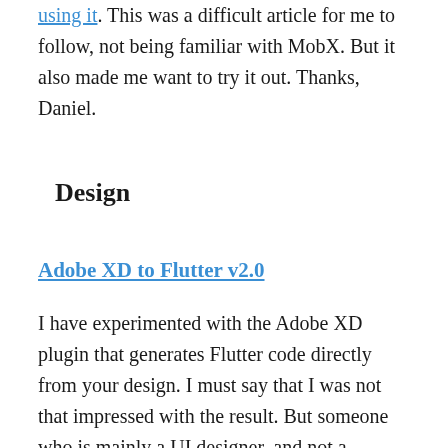through writing unit tests for a Flutter application using it. This was a difficult article for me to follow, not being familiar with MobX. But it also made me want to try it out. Thanks, Daniel.
Design
Adobe XD to Flutter v2.0
I have experimented with the Adobe XD plugin that generates Flutter code directly from your design. I must say that I was not that impressed with the result. But someone who is mainly a UI designer, and not a developer, might find it much more useful. The plugin is now updated for Flutter 2.